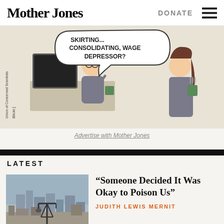Mother Jones
DONATE
[Figure (illustration): Editorial cartoon showing a man at a desk with a speech bubble reading 'SKIRTING... CONSOLIDATING, WAGE DEPRESSOR?' and a woman holding a coffee cup. Union of Concerned Scientists / Blicki attribution shown vertically.]
Advertise with Mother Jones
LATEST
[Figure (photo): Photo of an oil pump jack in the foreground with a city skyline in the background under hazy sky]
“Someone Decided It Was Okay to Poison Us”
JUDITH LEWIS MERNIT